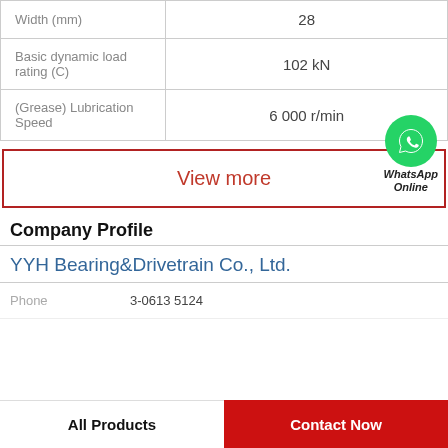| Property | Value |
| --- | --- |
| Width (mm) | 28 |
| Basic dynamic load rating (C) | 102 kN |
| (Grease) Lubrication Speed | 6 000 r/min |
View more
[Figure (logo): WhatsApp green circle icon with phone handset, labeled 'WhatsApp Online' in italic bold]
Company Profile
YYH Bearing&Drivetrain Co., Ltd.
Phone   3-0613 5124
All Products
Contact Now